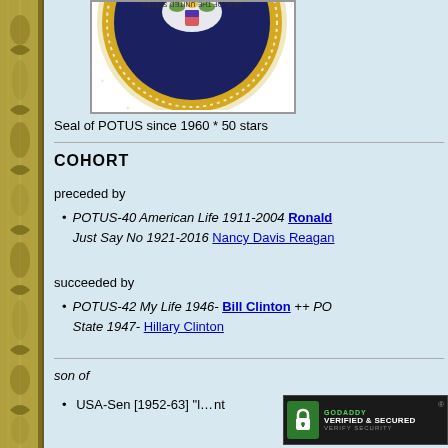[Figure (illustration): Presidential Seal of the United States (POTUS), shown partially/cropped from above, with navy blue center showing eagle, yellow ring with stars, and outer text ring. Shown upside-down/rotated.]
Seal of POTUS since 1960 * 50 stars
COHORT
preceded by
POTUS-40 American Life 1911-2004 Ronald... Just Say No 1921-2016 Nancy Davis Reagan
succeeded by
POTUS-42 My Life 1946- Bill Clinton ++ PO... State 1947- Hillary Clinton
son of
USA-Sen [1952-63] "[...] nt